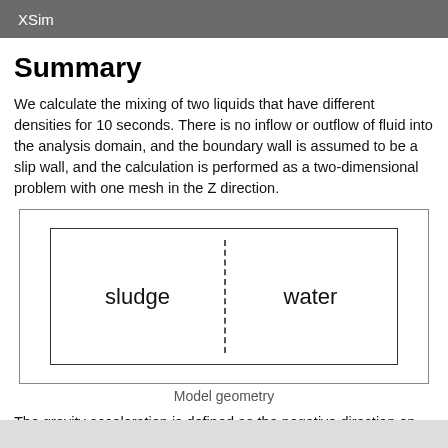XSim
Summary
We calculate the mixing of two liquids that have different densities for 10 seconds. There is no inflow or outflow of fluid into the analysis domain, and the boundary wall is assumed to be a slip wall, and the calculation is performed as a two-dimensional problem with one mesh in the Z direction.
[Figure (schematic): Model geometry diagram showing a rectangular domain divided by a dashed vertical line into two regions: 'sludge' on the left and 'water' on the right. The inner rectangle is bordered by a solid line inside the outer rectangle.]
Model geometry
The gravity acceleration is defined as the negative direction on the Y-axis in the file constant/g.